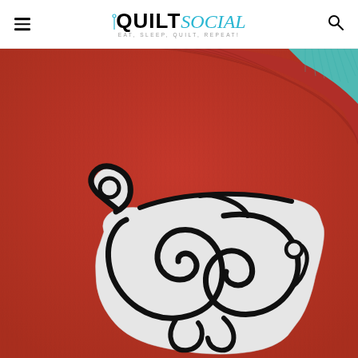QUILTsocial — EAT, SLEEP, QUILT, REPEAT!
[Figure (photo): Close-up photo of a red knit sweater with a white fabric appliqué patch featuring decorative black embroidered swirling scroll/curl designs resembling a stylized letter or ornamental motif. The top-right corner shows a hint of a teal/turquoise sleeve. The image is cropped to show primarily the front chest area of the sweater.]